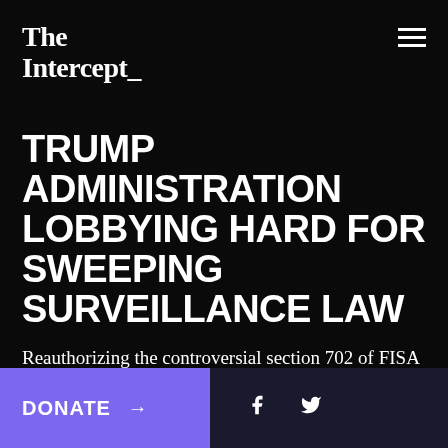The Intercept_
TRUMP ADMINISTRATION LOBBYING HARD FOR SWEEPING SURVEILLANCE LAW
Reauthorizing the controversial section 702 of FISA is a key priority of the Trump administration.
Alex Emmons
September 29 2017, 2:53 p.m.
DONATE →